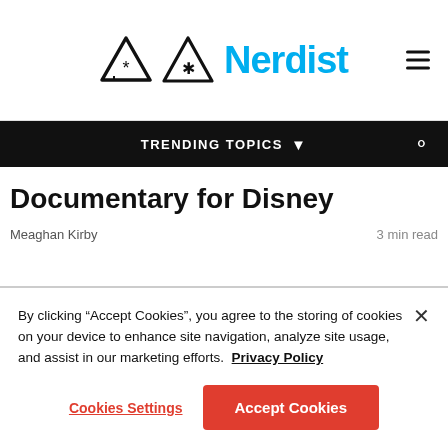Nerdist
Documentary for Disney
Meaghan Kirby
3 min read
By clicking “Accept Cookies”, you agree to the storing of cookies on your device to enhance site navigation, analyze site usage, and assist in our marketing efforts.  Privacy Policy